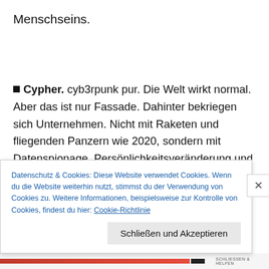Menschseins.
Cypher. cyb3rpunk pur. Die Welt wirkt normal. Aber das ist nur Fassade. Dahinter bekriegen sich Unternehmen. Nicht mit Raketen und fliegenden Panzern wie 2020, sondern mit Datenspionage, Persönlichkeitsveränderung und bedrückendem Missbrauch von Menschen. Speziell die Technik der Datentresore ist cyb3rpunk-Realität:
Datenschutz & Cookies: Diese Website verwendet Cookies. Wenn du die Website weiterhin nutzt, stimmst du der Verwendung von Cookies zu. Weitere Informationen, beispielsweise zur Kontrolle von Cookies, findest du hier: Cookie-Richtlinie
Schließen und Akzeptieren